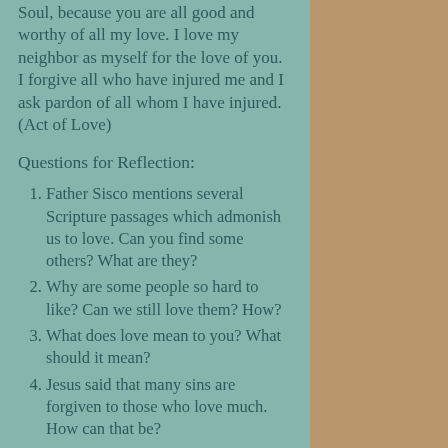Soul, because you are all good and worthy of all my love. I love my neighbor as myself for the love of you. I forgive all who have injured me and I ask pardon of all whom I have injured.  (Act of Love)
Questions for Reflection:
Father Sisco mentions several Scripture passages which admonish us to love. Can you find some others? What are they?
Why are some people so hard to like? Can we still love them? How?
What does love mean to you? What should it mean?
Jesus said that many sins are forgiven to those who love much. How can that be?
Discuss the Holy Spirit as love personified.
How do you show your love of